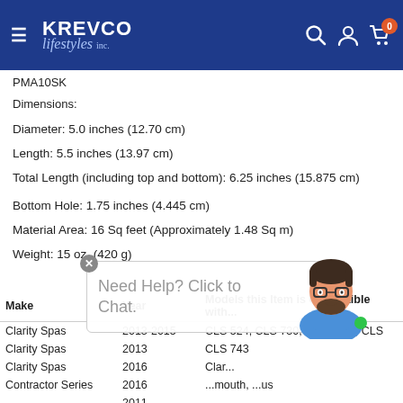KREVCO lifestyles inc.
PMA10SK
Dimensions:
Diameter: 5.0 inches (12.70 cm)
Length: 5.5 inches (13.97 cm)
Total Length (including top and bottom): 6.25 inches (15.875 cm)
Bottom Hole: 1.75 inches (4.445 cm)
Material Area: 16 Sq feet (Approximately 1.48 Sq m)
Weight: 15 oz. (420 g)
| Make | Year | Models this Item is Compatible with... |
| --- | --- | --- |
| Clarity Spas | 2013-2015 | CLS 524, CLS 730, CLS 730L, CLS |
| Clarity Spas | 2013 | CLS 743 |
| Clarity Spas | 2016 | Clar... |
| Contractor Series | 2016 | ...mouth, ...us |
| ... | 2011 | ... |